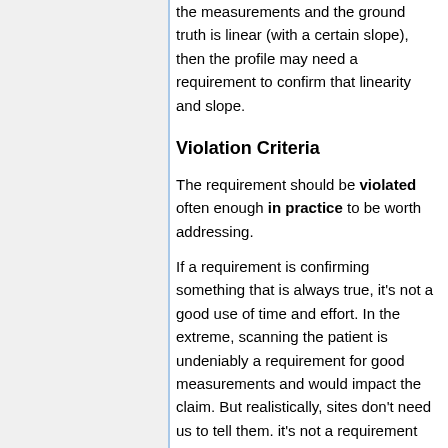the measurements and the ground truth is linear (with a certain slope), then the profile may need a requirement to confirm that linearity and slope.
Violation Criteria
The requirement should be violated often enough in practice to be worth addressing.
If a requirement is confirming something that is always true, it's not a good use of time and effort. In the extreme, scanning the patient is undeniably a requirement for good measurements and would impact the claim. But realistically, sites don't need us to tell them. it's not a requirement that sites need us to remind them not to violate.